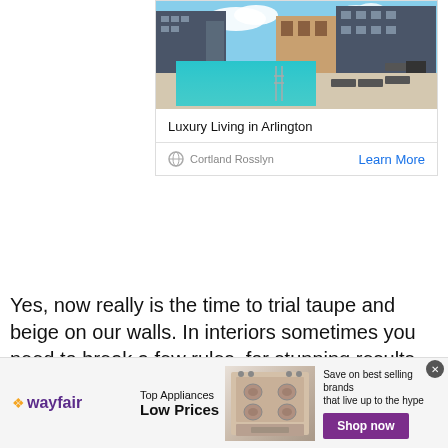[Figure (photo): Advertisement card showing luxury apartment complex with outdoor rooftop pool, lounge chairs, and modern buildings under blue sky. Ad label in top left corner. Card contains title 'Luxury Living in Arlington', globe icon, text 'Cortland Rosslyn', and 'Learn More' link.]
Yes, now really is the time to trial taupe and beige on our walls. In interiors sometimes you need to break a few rules, for stunning results.
[Figure (infographic): Wayfair advertisement banner. Wayfair logo on left, 'Top Appliances Low Prices' text in center-left, product image of stove/range in center, 'Save on best selling brands that live up to the hype' text and purple 'Shop now' button on right. Close button (x) in top right.]